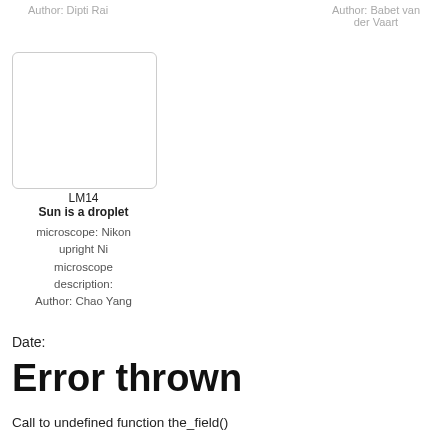Author: Dipti Rai
Author: Babet van der Vaart
[Figure (photo): White blank image placeholder with rounded border, representing LM14 Sun is a droplet microscope image]
LM14
Sun is a droplet
microscope: Nikon upright Ni microscope description: Author: Chao Yang
Date:
Error thrown
Call to undefined function the_field()